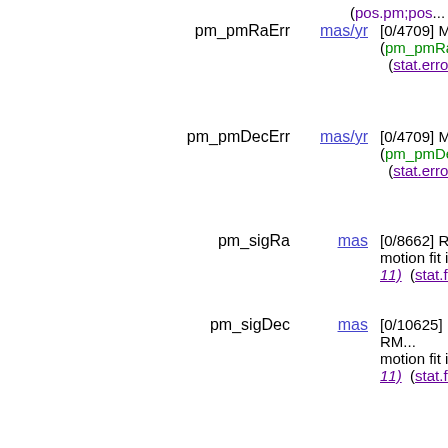(pos.pm;pos...
pm_pmRaErr | mas/yr | [0/4709] Mean (pm_pmRaErr) (stat.error;p...
pm_pmDecErr | mas/yr | [0/4709] Mean (pm_pmDecErr) (stat.error;p...
pm_sigRa | mas | [0/8662] RMS motion fit in ... 11) (stat.fit.r...
pm_sigDec | mas | [0/10625] RMS motion fit in ... 11) (stat.fit.r...
pm_nFit | | [0/6] Number the pm fit inc (Note 11) (m...
pm_O | | [-214740/701... USNO-B O p... SDSS g (pm_ (phot.mag;e...
pm_E | | Magnitude fr... to SDSS r (pr (phot.mag;e...
pm_J | | Magnitude fr...